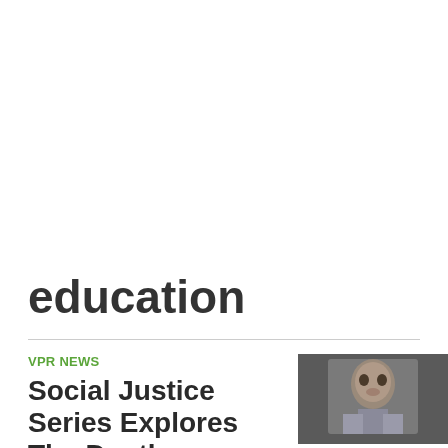education
VPR NEWS
Social Justice Series Explores The Depth...
[Figure (photo): Close-up photo of a person's face, cropped at bottom of page]